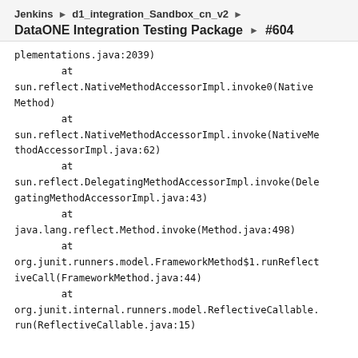Jenkins ▶ d1_integration_Sandbox_cn_v2 ▶
DataONE Integration Testing Package ▶ #604
plementations.java:2039)
        at
sun.reflect.NativeMethodAccessorImpl.invoke0(Native
Method)
        at
sun.reflect.NativeMethodAccessorImpl.invoke(NativeMe
thodAccessorImpl.java:62)
        at
sun.reflect.DelegatingMethodAccessorImpl.invoke(Dele
gatingMethodAccessorImpl.java:43)
        at
java.lang.reflect.Method.invoke(Method.java:498)
        at
org.junit.runners.model.FrameworkMethod$1.runReflect
iveCall(FrameworkMethod.java:44)
        at
org.junit.internal.runners.model.ReflectiveCallable.
run(ReflectiveCallable.java:15)